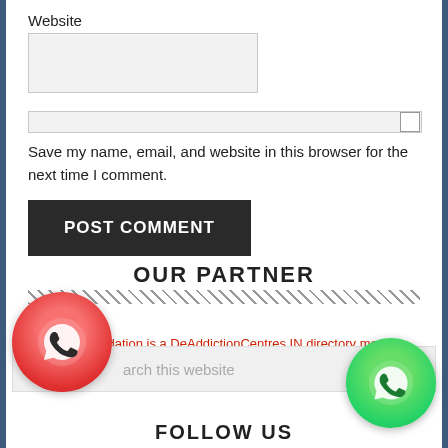Website
[Figure (screenshot): Website text input field (empty, light gray background)]
[Figure (screenshot): Checkbox row with long bar and checkbox square on right]
Save my name, email, and website in this browser for the next time I comment.
[Figure (screenshot): POST COMMENT button (dark background, white uppercase text)]
OUR PARTNER
[Figure (infographic): Diagonal stripe divider line]
Navjyoti Foundation is a DeAddictionCentres.IN directory member
[Figure (screenshot): Search bar with placeholder text 'arch this website', overlaid by red WhatsApp circle icon on left and green WhatsApp circle icon on bottom right]
FOLLOW US